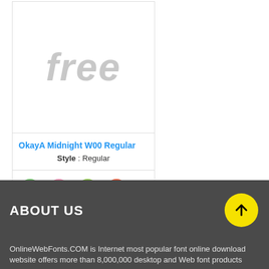[Figure (screenshot): Font preview card showing the word 'free' in a large gray italic bold font, with the font name 'OkayA Midnight W00 Regular' and style 'Regular' listed below, and four circular action buttons: green share, pink add, green favorite star, and red-orange eye/view.]
ABOUT US
OnlineWebFonts.COM is Internet most popular font online download website offers more than 8,000,000 desktop and Web font products